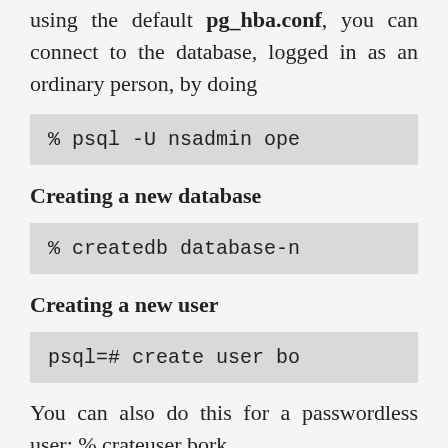using the default pg_hba.conf, you can connect to the database, logged in as an ordinary person, by doing
% psql -U nsadmin ope
Creating a new database
% createdb database-n
Creating a new user
psql=# create user bo
You can also do this for a passwordless user: % crateuser bork